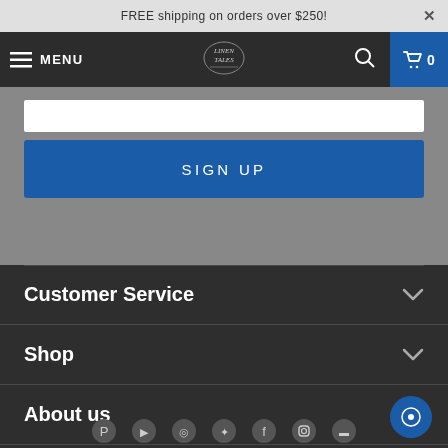FREE shipping on orders over $250!
[Figure (screenshot): Navigation bar with hamburger menu, LINEN TALES logo, search icon, and cart with 0 items]
[Figure (screenshot): Gray section with white input bar and blue SIGN UP button]
Customer Service
Shop
About us
Contact us
[Figure (screenshot): Social media icons row at bottom including circular icons for various platforms]